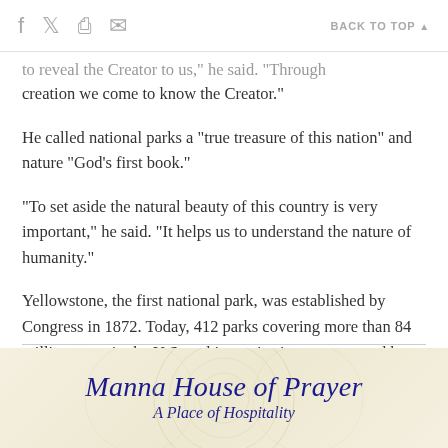f [twitter] [print] [email]    BACK TO TOP ▲
to reveal the Creator to us," he said. "Through creation we come to know the Creator."
He called national parks a "true treasure of this nation" and nature "God's first book."
"To set aside the natural beauty of this country is very important," he said. "It helps us to understand the nature of humanity."
Yellowstone, the first national park, was established by Congress in 1872. Today, 412 parks covering more than 84 million acres in the U.S. and its territories are managed by the National Park Service.
[Figure (logo): Manna House of Prayer logo with script text on a light beige/cream background with circular watermark design. Text reads 'Manna House of Prayer' in blue script, with 'A Place of Hospitality' below.]